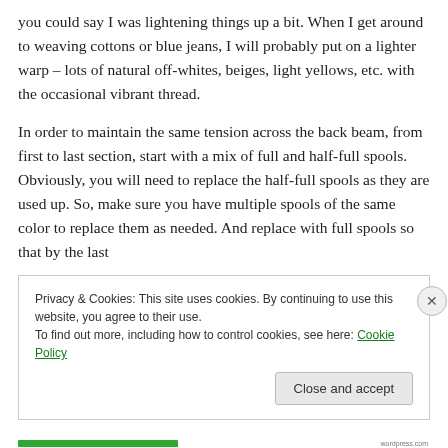you could say I was lightening things up a bit. When I get around to weaving cottons or blue jeans, I will probably put on a lighter warp – lots of natural off-whites, beiges, light yellows, etc. with the occasional vibrant thread.
In order to maintain the same tension across the back beam, from first to last section, start with a mix of full and half-full spools. Obviously, you will need to replace the half-full spools as they are used up. So, make sure you have multiple spools of the same color to replace them as needed. And replace with full spools so that by the last
Privacy & Cookies: This site uses cookies. By continuing to use this website, you agree to their use.
To find out more, including how to control cookies, see here: Cookie Policy